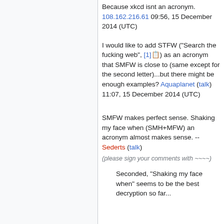Because xkcd isnt an acronym. 108.162.216.61 09:56, 15 December 2014 (UTC)
I would like to add STFW ("Search the fucking web", [1]) as an acronym that SMFW is close to (same except for the second letter)...but there might be enough examples? Aquaplanet (talk) 11:07, 15 December 2014 (UTC)
SMFW makes perfect sense. Shaking my face when (SMH+MFW) an acronym almost makes sense. -- Sederts (talk)
(please sign your comments with ~~~~)
Seconded, "Shaking my face when" seems to be the best decryption so far...